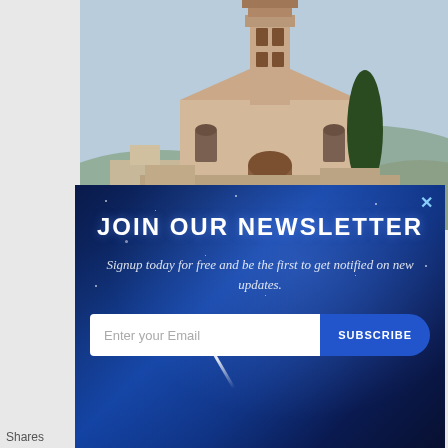[Figure (photo): Photograph of a medieval Italian church (Basilica di San Francesco d'Assisi) with a bell tower, rose window, and cypress trees in the background against a misty blue-grey sky.]
JOIN OUR NEWSLETTER
Signup today for free and be the first to get notified on new updates.
Enter your Email
SUBSCRIBE
Shares